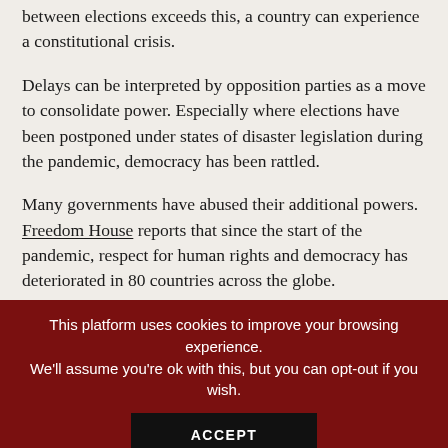between elections exceeds this, a country can experience a constitutional crisis.
Delays can be interpreted by opposition parties as a move to consolidate power. Especially where elections have been postponed under states of disaster legislation during the pandemic, democracy has been rattled.
Many governments have abused their additional powers. Freedom House reports that since the start of the pandemic, respect for human rights and democracy has deteriorated in 80 countries across the globe.
Abuses of power include violent crackdowns on protestors, experienced in Nigeria; detention or arrest of
This platform uses cookies to improve your browsing experience. We'll assume you're ok with this, but you can opt-out if you wish.